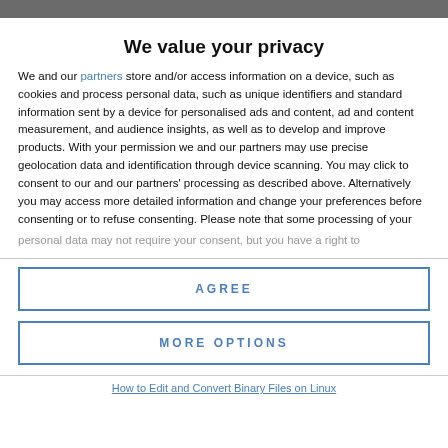We value your privacy
We and our partners store and/or access information on a device, such as cookies and process personal data, such as unique identifiers and standard information sent by a device for personalised ads and content, ad and content measurement, and audience insights, as well as to develop and improve products. With your permission we and our partners may use precise geolocation data and identification through device scanning. You may click to consent to our and our partners' processing as described above. Alternatively you may access more detailed information and change your preferences before consenting or to refuse consenting. Please note that some processing of your personal data may not require your consent, but you have a right to
AGREE
MORE OPTIONS
How to Edit and Convert Binary Files on Linux